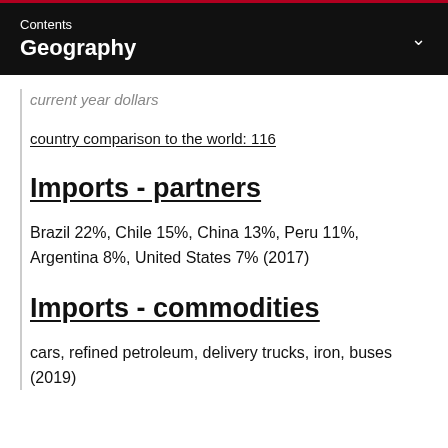Contents
Geography
current year dollars
country comparison to the world: 116
Imports - partners
Brazil 22%, Chile 15%, China 13%, Peru 11%, Argentina 8%, United States 7% (2017)
Imports - commodities
cars, refined petroleum, delivery trucks, iron, buses (2019)